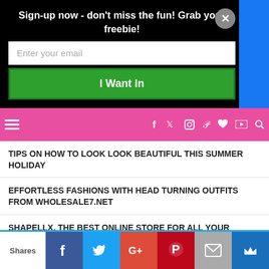Sign-up now - don't miss the fun! Grab your freebie!
Enter your email
I Want In
[Figure (screenshot): Pink navigation bar with hamburger menu and social media icons (Facebook, Twitter, Instagram, Pinterest, heart, YouTube) and search icon]
TIPS ON HOW TO LOOK LOOK BEAUTIFUL THIS SUMMER HOLIDAY
EFFORTLESS FASHIONS WITH HEAD TURNING OUTFITS FROM WHOLESALE7.NET
SHAPELLX, THE BEST ONLINE STORE FOR ALL YOUR SHAPEWEARS
[Figure (screenshot): Social share bar at bottom with Shares label, Facebook, Twitter, Google+, Pinterest, Email, and crown icon buttons]